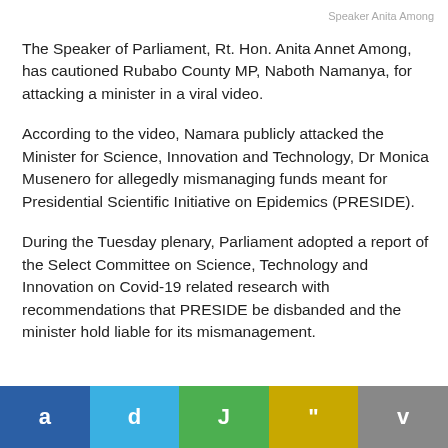Speaker Anita Among
The Speaker of Parliament, Rt. Hon. Anita Annet Among, has cautioned Rubabo County MP, Naboth Namanya, for attacking a minister in a viral video.
According to the video, Namara publicly attacked the Minister for Science, Innovation and Technology, Dr Monica Musenero for allegedly mismanaging funds meant for Presidential Scientific Initiative on Epidemics (PRESIDE).
During the Tuesday plenary, Parliament adopted a report of the Select Committee on Science, Technology and Innovation on Covid-19 related research with recommendations that PRESIDE be disbanded and the minister hold liable for its mismanagement.